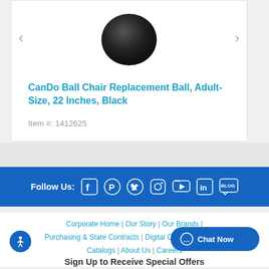[Figure (photo): Dark/black exercise ball product photo at top of product card]
CanDo Ball Chair Replacement Ball, Adult-Size, 22 Inches, Black
Item #: 1412625
[Figure (infographic): Follow Us section with social media icons: Facebook, Pinterest, Twitter, Instagram, YouTube, LinkedIn, Blog on a blue background bar]
Corporate Home | Our Story | Our Brands | Purchasing & State Contracts | Digital Catalogs Request Catalogs | About Us | Careers
Sign Up to Receive Special Offers